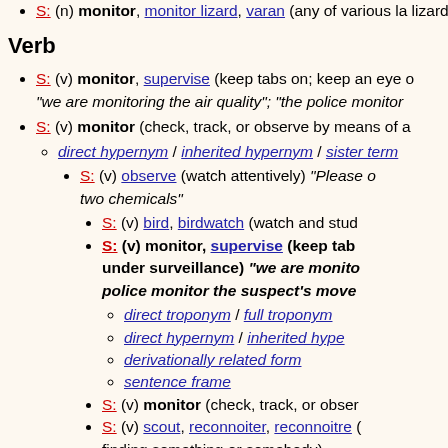S: (n) monitor, monitor lizard, varan (any of various large lizards of Africa and Asia and Australia; fabled to warn of crocodiles)
Verb
S: (v) monitor, supervise (keep tabs on; keep an eye on; keep under surveillance) "we are monitoring the air quality"; "the police monitor the suspect's moves"
S: (v) monitor (check, track, or observe by means of a receiver)
direct hypernym / inherited hypernym / sister term
S: (v) observe (watch attentively) "Please observe the reaction of these two chemicals"
S: (v) bird, birdwatch (watch and study birds in their natural habitat)
S: (v) monitor, supervise (keep tabs on; keep an eye on; keep under surveillance) "we are monitoring the air quality"; "the police monitor the suspect's moves"
direct troponym / full troponym
direct hypernym / inherited hypernym
derivationally related form
sentence frame
S: (v) monitor (check, track, or observe by means of a receiver)
S: (v) scout, reconnoiter, reconnoitre (explore, often with the goal of finding something or somebody)
S: (v) track (observe or plot the moving path of something) "track a missile"